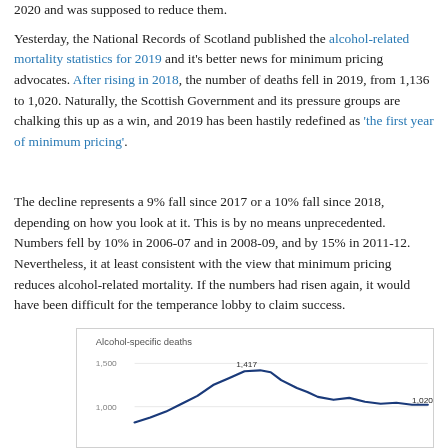2020 and was supposed to reduce them. Yesterday, the National Records of Scotland published the alcohol-related mortality statistics for 2019 and it's better news for minimum pricing advocates. After rising in 2018, the number of deaths fell in 2019, from 1,136 to 1,020. Naturally, the Scottish Government and its pressure groups are chalking this up as a win, and 2019 has been hastily redefined as 'the first year of minimum pricing'.
The decline represents a 9% fall since 2017 or a 10% fall since 2018, depending on how you look at it. This is by no means unprecedented. Numbers fell by 10% in 2006-07 and in 2008-09, and by 15% in 2011-12. Nevertheless, it at least consistent with the view that minimum pricing reduces alcohol-related mortality. If the numbers had risen again, it would have been difficult for the temperance lobby to claim success.
[Figure (line-chart): Line chart showing alcohol-specific deaths over time, with a peak of 1,417 and a recent value of 1,020. Y-axis shows 1,000 and 1,500 markers.]